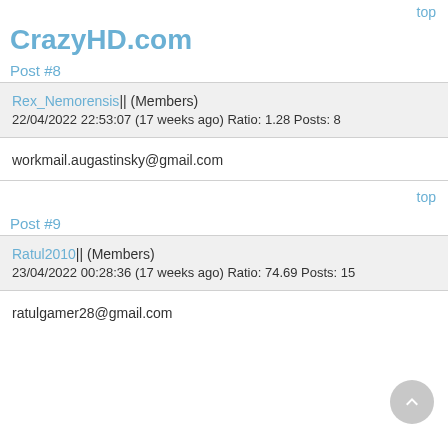top
CrazyHD.com
Post #8
Rex_Nemorensis|| (Members)
22/04/2022 22:53:07 (17 weeks ago) Ratio: 1.28 Posts: 8
workmail.augastinsky@gmail.com
top
Post #9
Ratul2010|| (Members)
23/04/2022 00:28:36 (17 weeks ago) Ratio: 74.69 Posts: 15
ratulgamer28@gmail.com